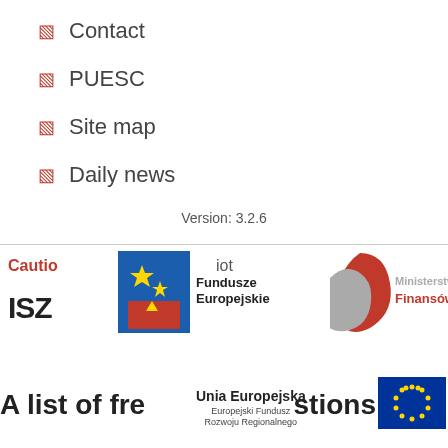Contact
PUESC
Site map
Daily news
Version: 3.2.6
[Figure (logo): Footer section with EU Fundusze Europejskie logo, Ministerstwo Finansów logo, Unia Europejska / Europejski Fundusz Rozwoju Regionalnego logo with EU flag, overlaid with partial text: Caution, iot, ISZ, A list of fre...stions]